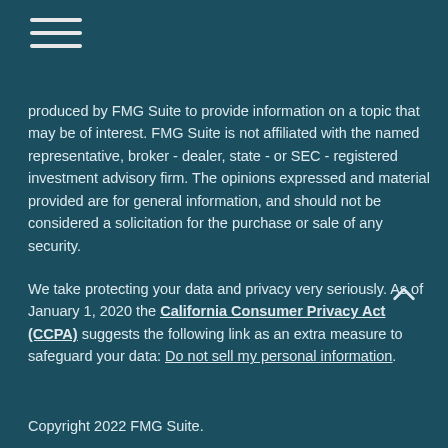hamburger menu icon
produced by FMG Suite to provide information on a topic that may be of interest. FMG Suite is not affiliated with the named representative, broker - dealer, state - or SEC - registered investment advisory firm. The opinions expressed and material provided are for general information, and should not be considered a solicitation for the purchase or sale of any security.
We take protecting your data and privacy very seriously. As of January 1, 2020 the California Consumer Privacy Act (CCPA) suggests the following link as an extra measure to safeguard your data: Do not sell my personal information.
Copyright 2022 FMG Suite.